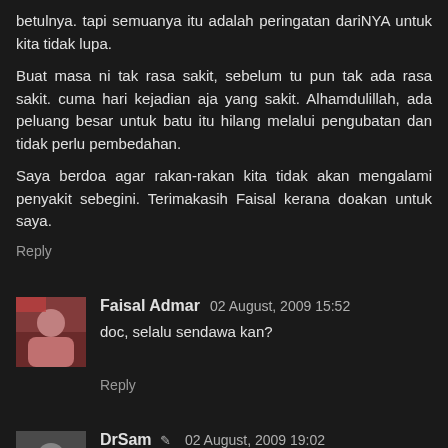betulnya. tapi semuanya itu adalah peringatan dariNYA untuk kita tidak lupa.
Buat masa ni tak rasa sakit, sebelum tu pun tak ada rasa sakit. cuma hari kejadian aja yang sakit. Alhamdulillah, ada peluang besar untuk batu itu hilang melalui pengubatan dan tidak perlu pembedahan.
Saya berdoa agar rakan-rakan kita tidak akan mengalami penyakit sebegini. Terimakasih Faisal kerana doakan untuk saya.
Reply
Faisal Admar 02 August, 2009 15:52
doc, selalu sendawa kan?
Reply
DrSam 02 August, 2009 19:02
Faisal Admar,